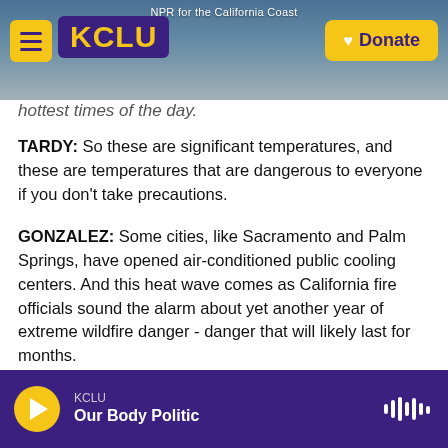NPR for the California Coast | KCLU | Donate
hottest times of the day.
TARDY: So these are significant temperatures, and these are temperatures that are dangerous to everyone if you don't take precautions.
GONZALEZ: Some cities, like Sacramento and Palm Springs, have opened air-conditioned public cooling centers. And this heat wave comes as California fire officials sound the alarm about yet another year of extreme wildfire danger - danger that will likely last for months.
(SOUNDBITE OF ARCHIVED RECORDING)
KCLU | Our Body Politic